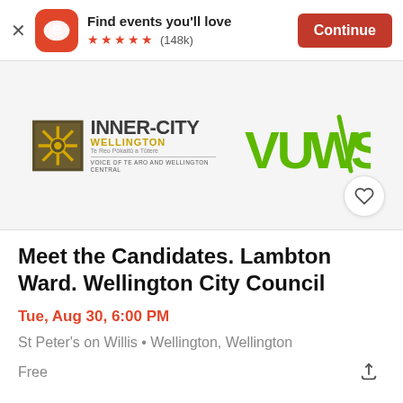[Figure (screenshot): Eventbrite app banner with orange logo, star rating, and Continue button]
[Figure (logo): Inner-City Wellington logo and VUWSA logo side by side on grey background]
Meet the Candidates. Lambton Ward. Wellington City Council
Tue, Aug 30, 6:00 PM
St Peter's on Willis • Wellington, Wellington
Free